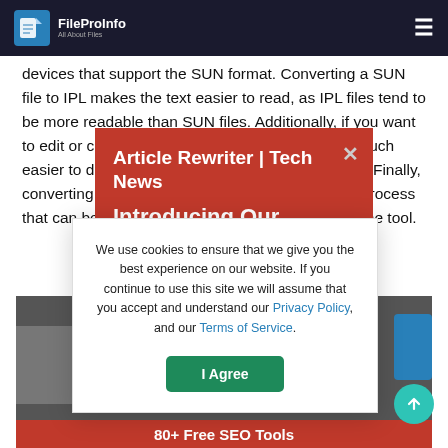FileProInfo | All About Files
devices that support the SUN format. Converting a SUN file to IPL makes the text easier to read, as IPL files tend to be more readable than SUN files. Additionally, if you want to edit or change something in the text, it can be much easier to do so in a IPL format than in SUN format. Finally, converting an SUN file to IPL is a quick and easy process that can be done online for free using this free online tool.
Article Rewriter | Tech News
Introducing Our
We use cookies to ensure that we give you the best experience on our website. If you continue to use this site we will assume that you accept and understand our Privacy Policy, and our Terms of Service.
I Agree
80+ Free SEO Tools